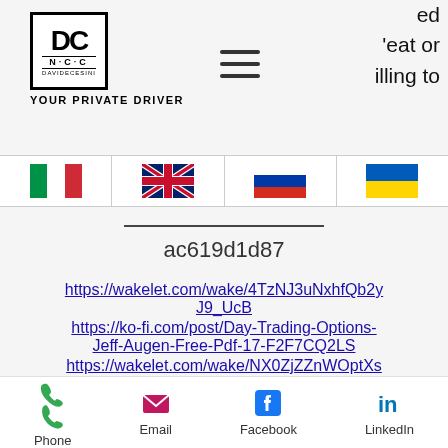[Figure (logo): DC NCC Davidecesini logo with text YOUR PRIVATE DRIVER]
[Figure (other): Hamburger menu icon (three horizontal lines)]
ed
'eat or
illing to
[Figure (other): Four flag icons: Italian flag, UK flag, Russian flag, Ukrainian flag]
ac619d1d87
https://wakelet.com/wake/4TzNJ3uNxhfQb2yJ9_UcB
https://ko-fi.com/post/Day-Trading-Options-Jeff-Augen-Free-Pdf-17-F2F7CQ2LS
https://wakelet.com/wake/NX0ZjZZnWOptXspPoOE9i
https://wakelet.com/wake/A7CXHagRnCAnl1
Phone  Email  Facebook  LinkedIn